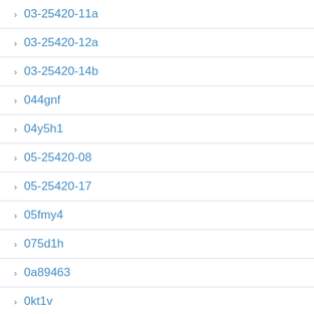03-25420-11a
03-25420-12a
03-25420-14b
044gnf
04y5h1
05-25420-08
05-25420-17
05fmy4
075d1h
0a89463
0kt1v